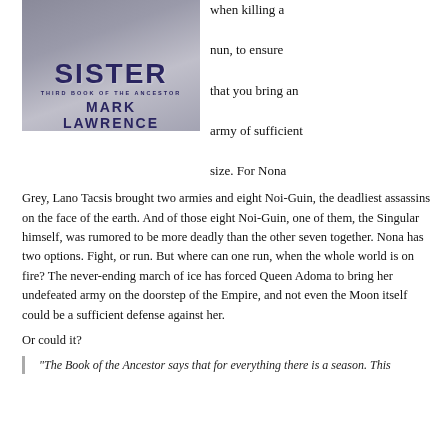[Figure (photo): Book cover of 'Holy Sister, Third Book of the Ancestor' by Mark Lawrence, showing stylized large text on a textured grey background]
when killing a nun, to ensure that you bring an army of sufficient size. For Nona Grey, Lano Tacsis brought two armies and eight Noi-Guin, the deadliest assassins on the face of the earth. And of those eight Noi-Guin, one of them, the Singular himself, was rumored to be more deadly than the other seven together. Nona has two options. Fight, or run. But where can one run, when the whole world is on fire? The never-ending march of ice has forced Queen Adoma to bring her undefeated army on the doorstep of the Empire, and not even the Moon itself could be a sufficient defense against her.
Or could it?
"The Book of the Ancestor says that for everything there is a season. This